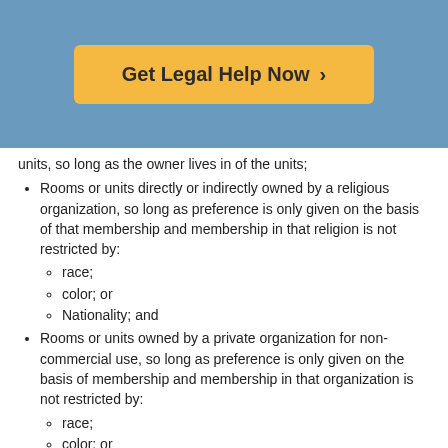[Figure (other): Blue header banner with orange 'Get Legal Help Now >' button]
units, so long as the owner lives in of the units;
Rooms or units directly or indirectly owned by a religious organization, so long as preference is only given on the basis of that membership and membership in that religion is not restricted by: race; color; or Nationality; and
Rooms or units owned by a private organization for non-commercial use, so long as preference is only given on the basis of membership and membership in that organization is not restricted by: race; color; or nationality.
Is There Any COVID-19 Relief for Those